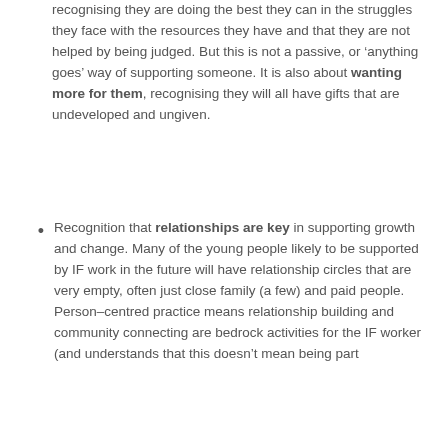recognising they are doing the best they can in the struggles they face with the resources they have and that they are not helped by being judged. But this is not a passive, or ‘anything goes’ way of supporting someone. It is also about wanting more for them, recognising they will all have gifts that are undeveloped and ungiven.
Recognition that relationships are key in supporting growth and change. Many of the young people likely to be supported by IF work in the future will have relationship circles that are very empty, often just close family (a few) and paid people. Person–centred practice means relationship building and community connecting are bedrock activities for the IF worker (and understands that this doesn’t mean being part